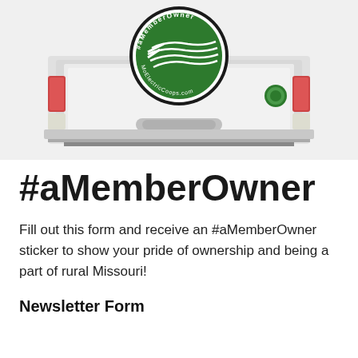[Figure (photo): Rear view of a white pickup truck with a green circular #aMemberOwner sticker on the tailgate, showing a logo with wheat/grain field lines and text 'MoElectricCoops.com']
#aMemberOwner
Fill out this form and receive an #aMemberOwner sticker to show your pride of ownership and being a part of rural Missouri!
Newsletter Form